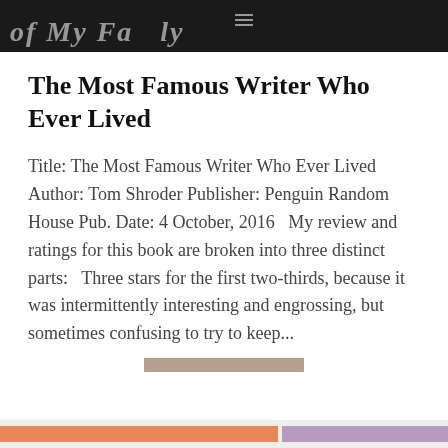[Figure (photo): Dark header image of a book cover or website header with white italic text partially visible reading 'of My Fa...' and a hamburger menu icon]
The Most Famous Writer Who Ever Lived
Title: The Most Famous Writer Who Ever Lived Author: Tom Shroder Publisher: Penguin Random House Pub. Date: 4 October, 2016   My review and ratings for this book are broken into three distinct parts:   Three stars for the first two-thirds, because it was intermittently interesting and engrossing, but sometimes confusing to try to keep...
Privacy & Cookies: This site uses cookies. By continuing to use this website, you agree to their use.
To find out more, including how to control cookies, see here: Cookie Policy
Close and accept